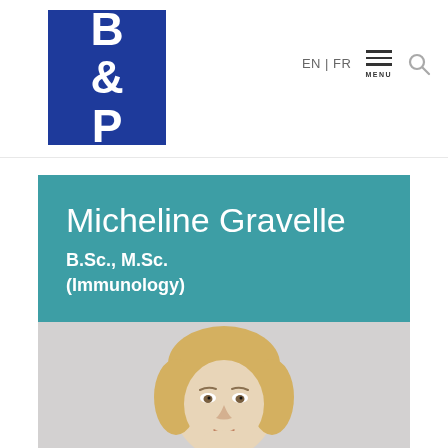[Figure (logo): B&P firm logo: white letters B, &, P on dark blue background]
EN | FR  MENU
Micheline Gravelle
B.Sc., M.Sc. (Immunology)
[Figure (photo): Headshot photo of Micheline Gravelle, a woman with blonde bangs, on a light grey background]